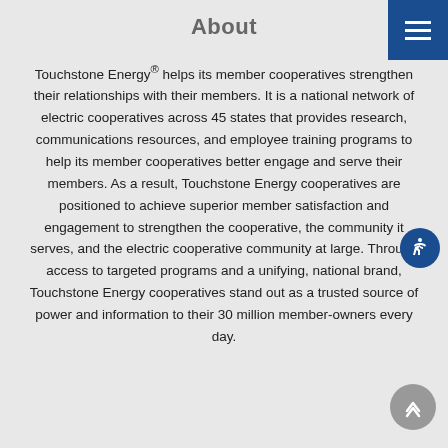About
Touchstone Energy® helps its member cooperatives strengthen their relationships with their members. It is a national network of electric cooperatives across 45 states that provides research, communications resources, and employee training programs to help its member cooperatives better engage and serve their members. As a result, Touchstone Energy cooperatives are positioned to achieve superior member satisfaction and engagement to strengthen the cooperative, the community it serves, and the electric cooperative community at large. Through access to targeted programs and a unifying, national brand, Touchstone Energy cooperatives stand out as a trusted source of power and information to their 30 million member-owners every day.